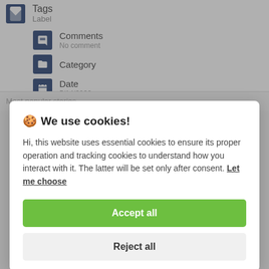[Figure (screenshot): Web UI showing Tags/Label row with icon, Comments row with 'No comment' subtitle, Category row with folder icon, and Date row showing 5/14/2022 with calendar icon. Background of a web application interface.]
🍪 We use cookies!
Hi, this website uses essential cookies to ensure its proper operation and tracking cookies to understand how you interact with it. The latter will be set only after consent. Let me choose
Accept all
Reject all